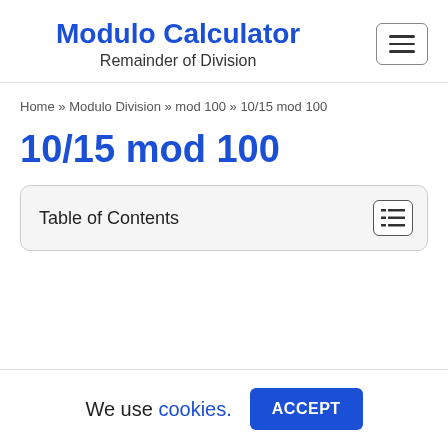Modulo Calculator — Remainder of Division
Home » Modulo Division » mod 100 » 10/15 mod 100
10/15 mod 100
Table of Contents
We use cookies. ACCEPT